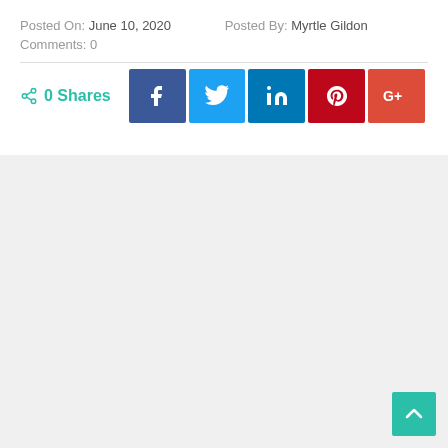Posted On: June 10, 2020    Posted By: Myrtle Gildon
Comments: 0
[Figure (infographic): Social share bar with 0 Shares count and five social media buttons: Facebook (f), Twitter (bird), LinkedIn (in), Pinterest (P), Google+ (G+)]
[Figure (other): Gray background area filling lower portion of page with a teal back-to-top arrow button in bottom right corner]